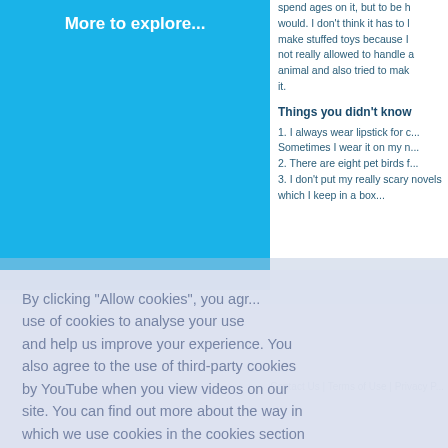More to explore...
spend ages on it, but to be h... would. I don't think it has to l... make stuffed toys because I... not really allowed to handle a... animal and also tried to mak... it.
Things you didn't know
1. I always wear lipstick for c... Sometimes I wear it on my n...
2. There are eight pet birds f...
3. I don't put my really scary novels which I keep in a box...
By clicking "Allow cookies", you agr... use of cookies to analyse your use and help us improve your experience. You also agree to the use of third-party cookies by YouTube when you view videos on our site. You can find out more about the way in which we use cookies in the cookies section of our Privacy Notice.
Learn about our policies
Contact Us | Terms of Use | Privacy P...
Decline/Revoke
Allow cookies